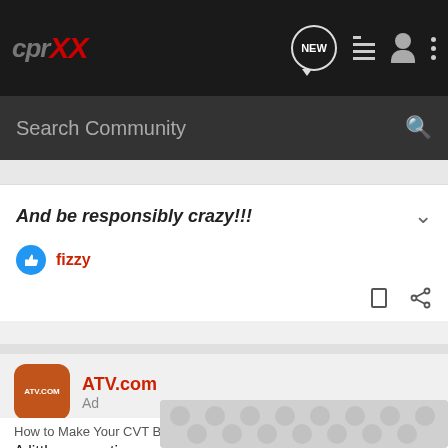CDRxx — Navigation bar with logo, NEW messages, list view, user, and more options
Search Community
And be responsibly crazy!!!
fizzy
[Figure (logo): ATV.com orange rounded square logo]
ATV.com
Ad
How to Make Your CVT Belt Last Longer
A little prevention can save you from a major headache on the trail
[Figure (photo): CVT belt pattern image placeholder]